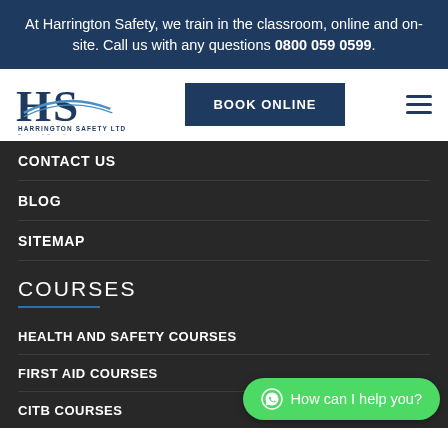At Harrington Safety, we train in the classroom, online and on-site. Call us with any questions 0800 059 0599.
[Figure (logo): Harrington Safety Ltd logo with HS letters and swash]
BOOK ONLINE
CONTACT US
BLOG
SITEMAP
COURSES
HEALTH AND SAFETY COURSES
FIRST AID COURSES
CITB COURSES
How can I help you?